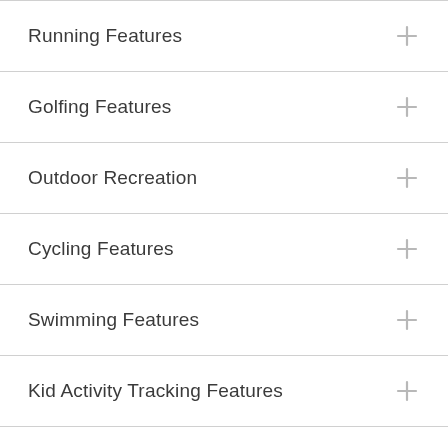Running Features
Golfing Features
Outdoor Recreation
Cycling Features
Swimming Features
Kid Activity Tracking Features